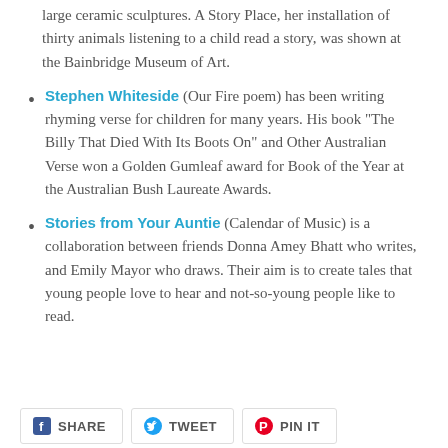large ceramic sculptures. A Story Place, her installation of thirty animals listening to a child read a story, was shown at the Bainbridge Museum of Art.
Stephen Whiteside (Our Fire poem) has been writing rhyming verse for children for many years. His book “The Billy That Died With Its Boots On” and Other Australian Verse won a Golden Gumleaf award for Book of the Year at the Australian Bush Laureate Awards.
Stories from Your Auntie (Calendar of Music) is a collaboration between friends Donna Amey Bhatt who writes, and Emily Mayor who draws. Their aim is to create tales that young people love to hear and not-so-young people like to read.
SHARE  TWEET  PIN IT